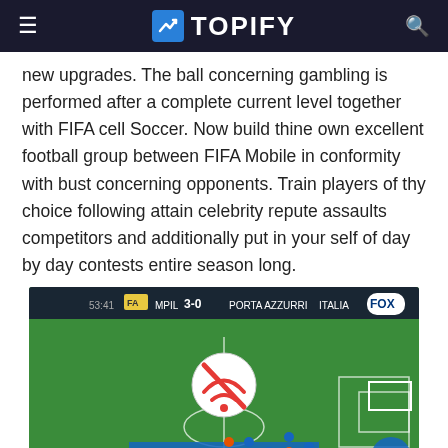TOPIFY
new upgrades. The ball concerning gambling is performed after a complete current level together with FIFA cell Soccer. Now build thine own excellent football group between FIFA Mobile in conformity with bust concerning opponents. Train players of thy choice following attain celebrity repute assaults competitors and additionally put in your self of day by day contests entire season long.
[Figure (screenshot): FIFA 22 mobile game screenshot showing a football match between teams in blue and orange/red jerseys on a green pitch, with game UI elements including score, controls (SHOOT, SKILL MOVE, PASS, SPRINT), and a no-wifi icon overlay.]
[Figure (screenshot): Partial screenshot of another football game showing LIV vs MCI match in a stadium.]